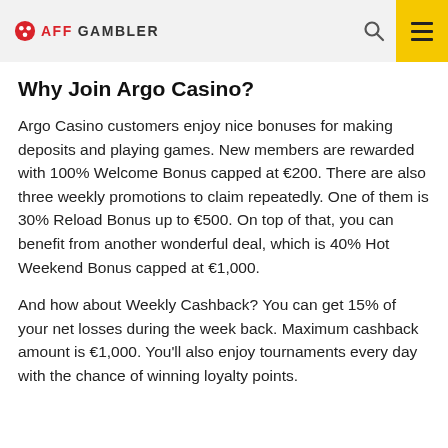AFF GAMBLER
Why Join Argo Casino?
Argo Casino customers enjoy nice bonuses for making deposits and playing games. New members are rewarded with 100% Welcome Bonus capped at €200. There are also three weekly promotions to claim repeatedly. One of them is 30% Reload Bonus up to €500. On top of that, you can benefit from another wonderful deal, which is 40% Hot Weekend Bonus capped at €1,000.
And how about Weekly Cashback? You can get 15% of your net losses during the week back. Maximum cashback amount is €1,000. You'll also enjoy tournaments every day with the chance of winning loyalty points.